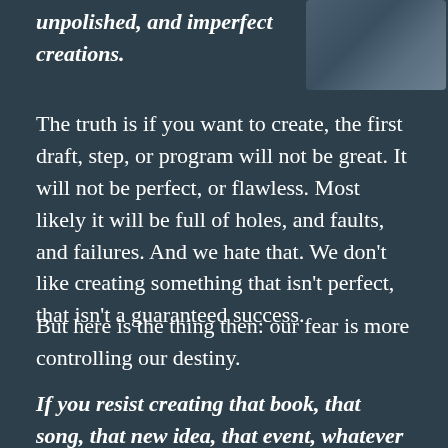unpolished, and imperfect creations.
[Figure (photo): A person holding a book, photographed from behind/side, dark blue background]
The truth is if you want to create, the first draft, step, or program will not be great. It will not be perfect, or flawless. Most likely it will be full of holes, and faults, and failures. And we hate that. We don't like creating something that isn't perfect, that isn't a guaranteed success.
But here is the thing then: our fear is more controlling our destiny.
If you resist creating that book, that song, that new idea, that event, whatever it is – because it might not be perfect, you will never make one.